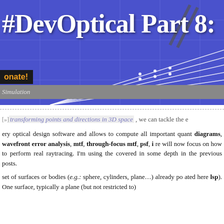[Figure (screenshot): Header image with blue grid/ray diagram background showing optical ray paths on a blue grid, with the title '#DevOptical Part 8:' overlaid in large white bold text, a dark 'onate!' button (partial 'Donate!'), and a grey subtitle bar showing 'Simulation' in italic.]
[»]transforming points and directions in 3D space , we can tackle the e
ery optical design software and allows to compute all important quant diagrams, wavefront error analysis, mtf, through-focus mtf, psf, i re will now focus on how to perform real raytracing. I'm using the covered in some depth in the previous posts.
set of surfaces or bodies (e.g.: sphere, cylinders, plane…) already po ated here lsp). One surface, typically a plane (but not restricted to)